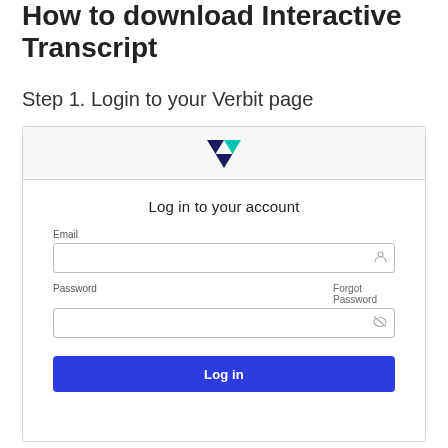How to download Interactive Transcript
Step 1. Login to your Verbit page
[Figure (screenshot): Screenshot of Verbit login page showing 'Log in to your account' form with Email field, Password field with Forgot Password link, and a blue Log In button]